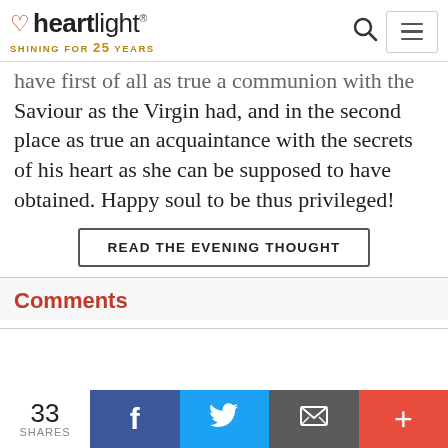heartlight® SHINING FOR 25 YEARS
have first of all as true a communion with the Saviour as the Virgin had, and in the second place as true an acquaintance with the secrets of his heart as she can be supposed to have obtained. Happy soul to be thus privileged!
READ THE EVENING THOUGHT
Comments
33 SHARES